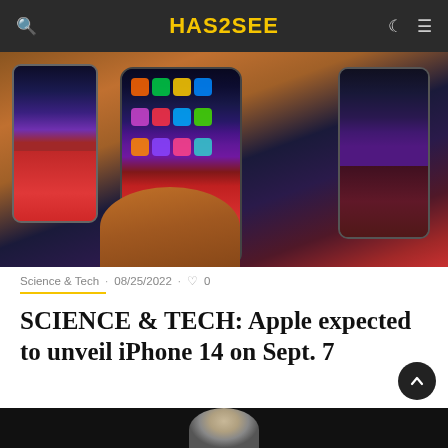HAS2SEE
[Figure (photo): Hand holding an iPhone 14 with colorful app icons on screen, with two other iPhones displayed on a wooden surface in the background]
Science & Tech · 08/25/2022 · ♡ 0
SCIENCE & TECH: Apple expected to unveil iPhone 14 on Sept. 7
[Figure (photo): Person portrait photo, partially visible at bottom of page, dark background]